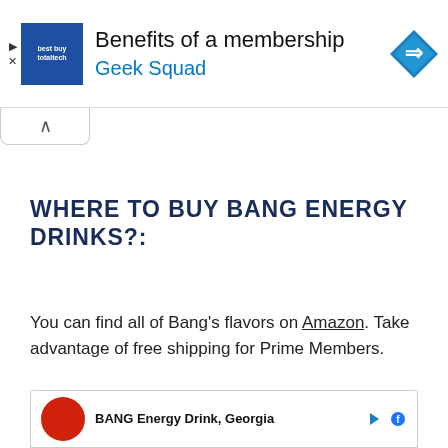[Figure (screenshot): Advertisement banner: Best Buy Total Tech / Geek Squad membership benefits ad with blue logo and blue diamond arrow icon]
WHERE TO BUY BANG ENERGY DRINKS?:
You can find all of Bang's flavors on Amazon. Take advantage of free shipping for Prime Members.
[Figure (screenshot): Bottom advertisement for BANG Energy Drink, Georgia with red circular logo]